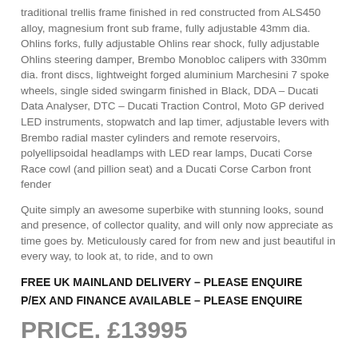traditional trellis frame finished in red constructed from ALS450 alloy, magnesium front sub frame, fully adjustable 43mm dia. Ohlins forks, fully adjustable Ohlins rear shock, fully adjustable Ohlins steering damper, Brembo Monobloc calipers with 330mm dia. front discs, lightweight forged aluminium Marchesini 7 spoke wheels, single sided swingarm finished in Black, DDA – Ducati Data Analyser, DTC – Ducati Traction Control, Moto GP derived LED instruments, stopwatch and lap timer, adjustable levers with Brembo radial master cylinders and remote reservoirs, polyellipsoidal headlamps with LED rear lamps, Ducati Corse Race cowl (and pillion seat) and a Ducati Corse Carbon front fender
Quite simply an awesome superbike with stunning looks, sound and presence, of collector quality, and will only now appreciate as time goes by. Meticulously cared for from new and just beautiful in every way, to look at, to ride, and to own
FREE UK MAINLAND DELIVERY – PLEASE ENQUIRE
P/EX AND FINANCE AVAILABLE – PLEASE ENQUIRE
PRICE. £13995